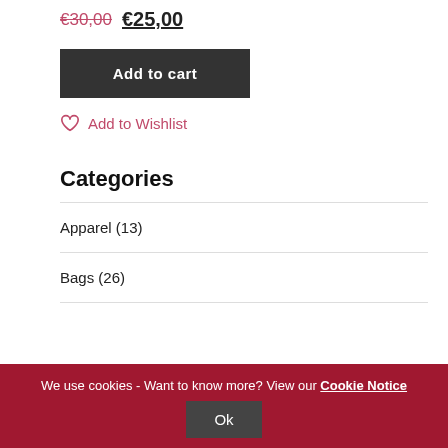€30,00 €25,00
Add to cart
Add to Wishlist
Categories
Apparel (13)
Bags (26)
We use cookies - Want to know more? View our Cookie Notice
Ok